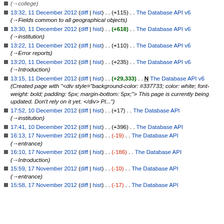13:32, 11 December 2012 (diff | hist) . . (+115) . . The Database API v6 (→Fields common to all geographical objects)
13:30, 11 December 2012 (diff | hist) . . (+618) . . The Database API v6 (→institution)
13:22, 11 December 2012 (diff | hist) . . (+110) . . The Database API v6 (→Error reports)
13:20, 11 December 2012 (diff | hist) . . (+235) . . The Database API v6 (→Introduction)
13:15, 11 December 2012 (diff | hist) . . (+29,333) . . N The Database API v6 (Created page with "<div style="background-color: #337733; color: white; font-weight: bold; padding: 5px; margin-bottom: 5px;"> This page is currently being updated. Don't rely on it yet. </div> Pl...")
17:52, 10 December 2012 (diff | hist) . . (+17) . . The Database API (→institution)
17:41, 10 December 2012 (diff | hist) . . (+396) . . The Database API
16:13, 17 November 2012 (diff | hist) . . (-19) . . The Database API (→entrance)
16:10, 17 November 2012 (diff | hist) . . (-186) . . The Database API (→Introduction)
15:59, 17 November 2012 (diff | hist) . . (-10) . . The Database API (→entrance)
15:58, 17 November 2012 (diff | hist) . . (-17) . . The Database API